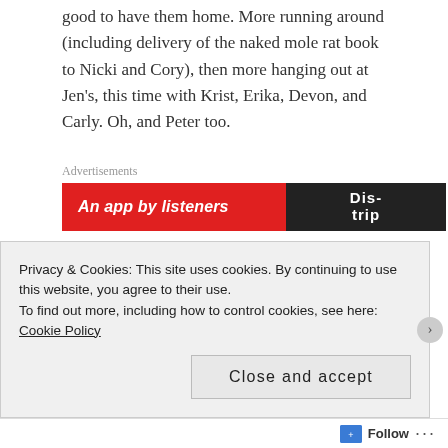good to have them home. More running around (including delivery of the naked mole rat book to Nicki and Cory), then more hanging out at Jen's, this time with Krist, Erika, Devon, and Carly. Oh, and Peter too.
Advertisements
[Figure (infographic): Red advertisement banner reading 'An app by listeners' with a dark right section showing 'Dis-trip' logo]
Sunday was a lovely breakfast with my parents, followed by lots of driving – to Lindenhurst to get the new car, then to IKEA, then home around the
Privacy & Cookies: This site uses cookies. By continuing to use this website, you agree to their use.
To find out more, including how to control cookies, see here: Cookie Policy
Close and accept
Follow